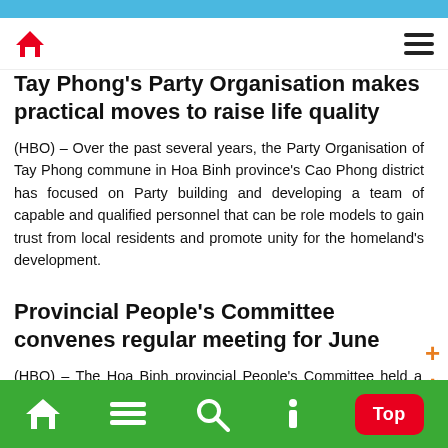Tay Phong's Party Organisation makes practical moves to raise life quality
(HBO) – Over the past several years, the Party Organisation of Tay Phong commune in Hoa Binh province's Cao Phong district has focused on Party building and developing a team of capable and qualified personnel that can be role models to gain trust from local residents and promote unity for the homeland's development.
Provincial People's Committee convenes regular meeting for June
(HBO) – The Hoa Binh provincial People's Committee held a regular meeting on June 30 to discuss draft documents to be submitted to the provincial Party Committee's Standing Board and the provincial People's Council, documents within the remit of the...
Top